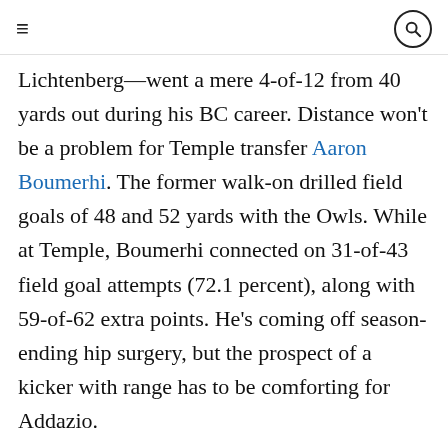≡  [search icon]
Lichtenberg—went a mere 4-of-12 from 40 yards out during his BC career. Distance won't be a problem for Temple transfer Aaron Boumerhi. The former walk-on drilled field goals of 48 and 52 yards with the Owls. While at Temple, Boumerhi connected on 31-of-43 field goal attempts (72.1 percent), along with 59-of-62 extra points. He's coming off season-ending hip surgery, but the prospect of a kicker with range has to be comforting for Addazio.
[infogram id="f2fc6a55-d31a-44d7-b552-ae35c504c017" prefix="lbL1"